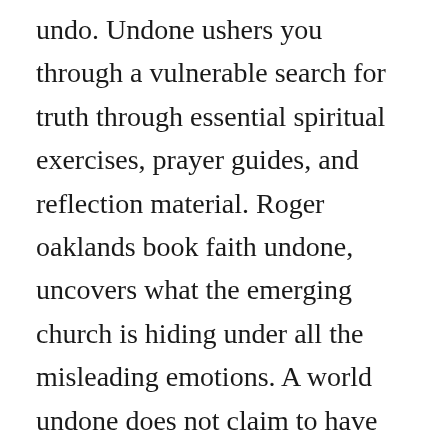undo. Undone ushers you through a vulnerable search for truth through essential spiritual exercises, prayer guides, and reflection material. Roger oaklands book faith undone, uncovers what the emerging church is hiding under all the misleading emotions. A world undone does not claim to have all the answers if answers are even possible. Scrutons exploration of these important issues is written with skill, perception and at all times with pellucid clarity.

When i asked anita wilson how she had been